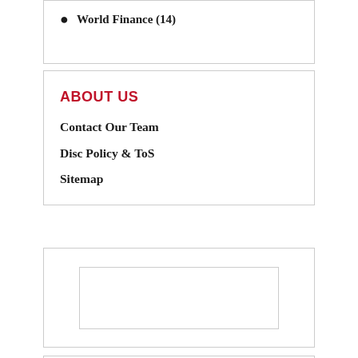World Finance (14)
ABOUT US
Contact Our Team
Disc Policy & ToS
Sitemap
[Figure (other): Advertisement or image placeholder box]
MOST VIEWS POSTS